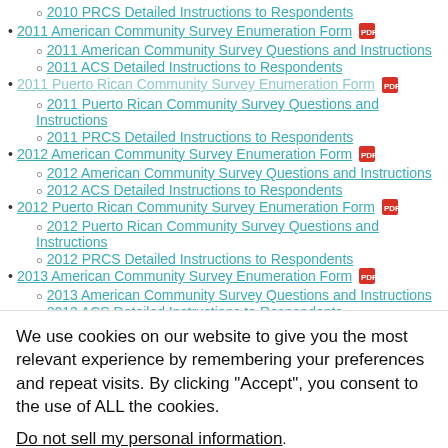2010 PRCS Detailed Instructions to Respondents
2011 American Community Survey Enumeration Form [PDF]
2011 American Community Survey Questions and Instructions
2011 ACS Detailed Instructions to Respondents
2011 Puerto Rican Community Survey Enumeration Form [PDF]
2011 Puerto Rican Community Survey Questions and Instructions
2011 PRCS Detailed Instructions to Respondents
2012 American Community Survey Enumeration Form [PDF]
2012 American Community Survey Questions and Instructions
2012 ACS Detailed Instructions to Respondents
2012 Puerto Rican Community Survey Enumeration Form [PDF]
2012 Puerto Rican Community Survey Questions and Instructions
2012 PRCS Detailed Instructions to Respondents
2013 American Community Survey Enumeration Form [PDF]
2013 American Community Survey Questions and Instructions
2013 ACS Detailed Instructions to Respondents
We use cookies on our website to give you the most relevant experience by remembering your preferences and repeat visits. By clicking “Accept”, you consent to the use of ALL the cookies.
Do not sell my personal information.
Cookie settings
ACCEPT